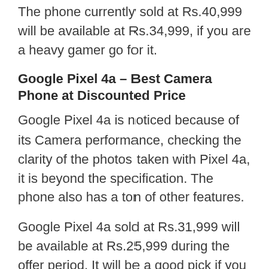The phone currently sold at Rs.40,999 will be available at Rs.34,999, if you are a heavy gamer go for it.
Google Pixel 4a – Best Camera Phone at Discounted Price
Google Pixel 4a is noticed because of its Camera performance, checking the clarity of the photos taken with Pixel 4a, it is beyond the specification. The phone also has a ton of other features.
Google Pixel 4a sold at Rs.31,999 will be available at Rs.25,999 during the offer period. It will be a good pick if you give more importance to the camera.